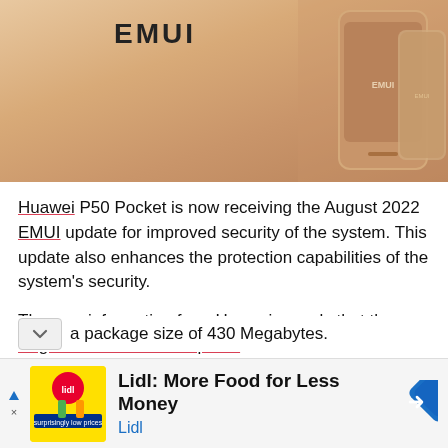[Figure (photo): Huawei EMUI branded product image with phone on warm tan/gold background, EMUI text at top]
Huawei P50 Pocket is now receiving the August 2022 EMUI update for improved security of the system. This update also enhances the protection capabilities of the system's security.
The new information from Huawei reveals that the August 2022 firmware update for Huawei P50 Pocket comes with the EMUI 12.0.1206 version. Furthermore, the update [has] a package size of 430 Megabytes.
[Figure (infographic): Advertisement banner: Lidl: More Food for Less Money, Lidl]